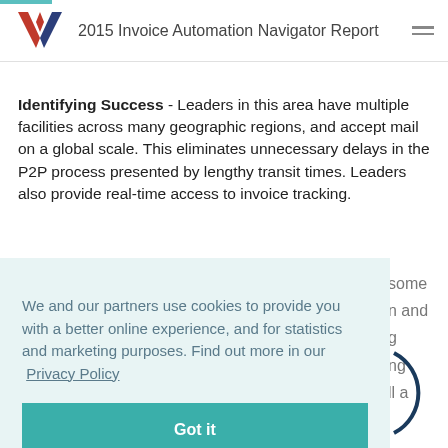2015 Invoice Automation Navigator Report
Identifying Success - Leaders in this area have multiple facilities across many geographic regions, and accept mail on a global scale. This eliminates unnecessary delays in the P2P process presented by lengthy transit times. Leaders also provide real-time access to invoice tracking.
We and our partners use cookies to provide you with a better online experience, and for statistics and marketing purposes. Find out more in our Privacy Policy
Got it